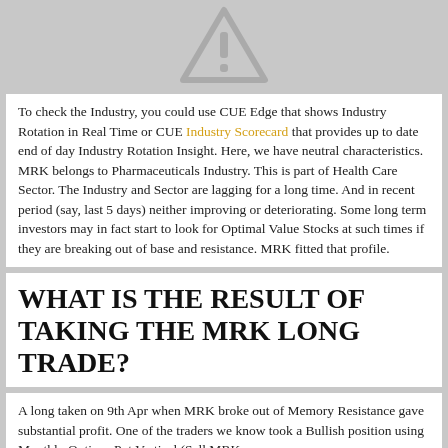[Figure (illustration): Warning triangle icon with exclamation mark, gray color, partially cropped at top]
To check the Industry, you could use CUE Edge that shows Industry Rotation in Real Time or CUE Industry Scorecard that provides up to date end of day Industry Rotation Insight. Here, we have neutral characteristics. MRK belongs to Pharmaceuticals Industry. This is part of Health Care Sector. The Industry and Sector are lagging for a long time. And in recent period (say, last 5 days) neither improving or deteriorating. Some long term investors may in fact start to look for Optimal Value Stocks at such times if they are breaking out of base and resistance. MRK fitted that profile.
WHAT IS THE RESULT OF TAKING THE MRK LONG TRADE?
A long taken on 9th Apr when MRK broke out of Memory Resistance gave substantial profit. One of the traders we know took a Bullish position using Monthly Options Put Vertical (Sell MRK